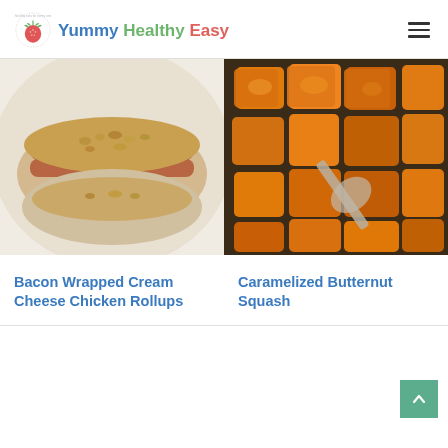[Figure (logo): Yummy Healthy Easy website logo with strawberry icon and site name in blue, green, and red text]
[Figure (photo): Bacon Wrapped Cream Cheese Chicken Rollups — breaded chicken wrapped in bacon on a white plate]
[Figure (photo): Caramelized Butternut Squash — golden brown cubes of roasted butternut squash on a dark baking tray with a silver spoon]
Bacon Wrapped Cream Cheese Chicken Rollups
Caramelized Butternut Squash